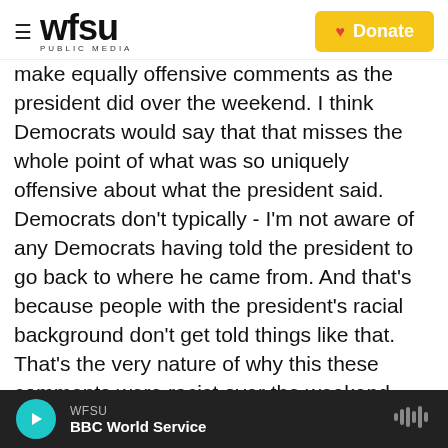WFSU PUBLIC MEDIA | Donate
make equally offensive comments as the president did over the weekend. I think Democrats would say that that misses the whole point of what was so uniquely offensive about what the president said. Democrats don't typically - I'm not aware of any Democrats having told the president to go back to where he came from. And that's because people with the president's racial background don't get told things like that. That's the very nature of why this these comments were racist over the weekend. And I think that's what Democrats would say.
KING: Are leaders in both parties comfortable with
WFSU | BBC World Service